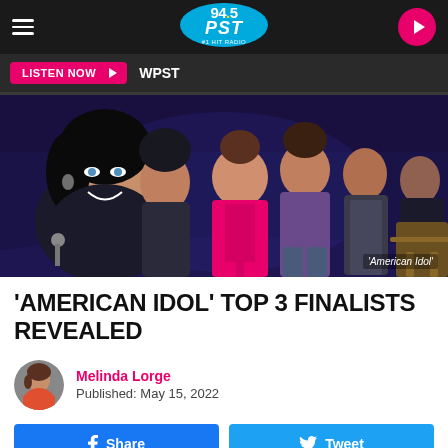94.5 PST – WPST
[Figure (photo): Group photo of American Idol top 3 finalists on stage with colorful outfits including pink and glitter jackets, with caption 'American Idol']
'AMERICAN IDOL' TOP 3 FINALISTS REVEALED
Melinda Lorge
Published: May 15, 2022
Share   Tweet